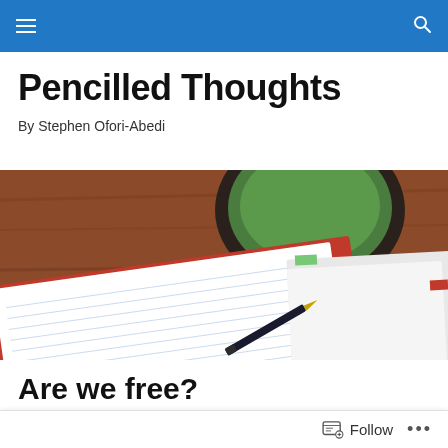Pencilled Thoughts — navigation bar with hamburger menu and search icon
Pencilled Thoughts
By Stephen Ofori-Abedi
[Figure (photo): Overhead view of an open lined notebook with a red cover, a fountain pen resting on it, and a green coffee cup in the background on a wooden surface.]
Are we free?
[Figure (photo): Partial view of a second article's header image — colorful gradient strip with a silhouette figure.]
Follow  •••